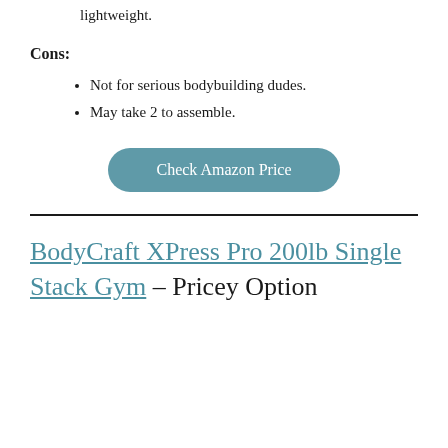lightweight.
Cons:
Not for serious bodybuilding dudes.
May take 2 to assemble.
Check Amazon Price
BodyCraft XPress Pro 200lb Single Stack Gym – Pricey Option